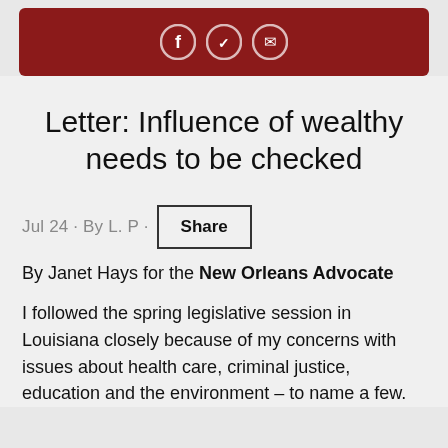[Figure (other): Dark red/maroon header bar with three circular social media icons (Facebook, Twitter, email/share)]
Letter: Influence of wealthy needs to be checked
Jul 24 · By L. P · Share
By Janet Hays for the New Orleans Advocate
I followed the spring legislative session in Louisiana closely because of my concerns with issues about health care, criminal justice, education and the environment – to name a few.